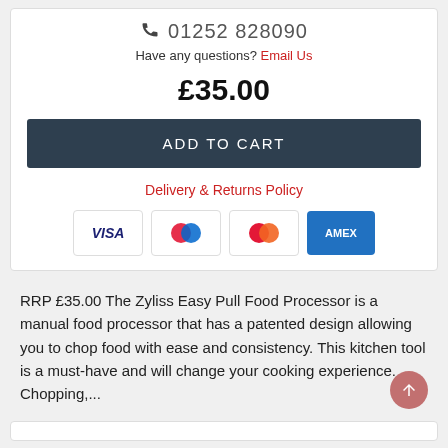01252 828090
Have any questions? Email Us
£35.00
ADD TO CART
Delivery & Returns Policy
[Figure (other): Payment method logos: VISA, Maestro, Mastercard, AMEX]
RRP £35.00 The Zyliss Easy Pull Food Processor is a manual food processor that has a patented design allowing you to chop food with ease and consistency. This kitchen tool is a must-have and will change your cooking experience. Chopping,...